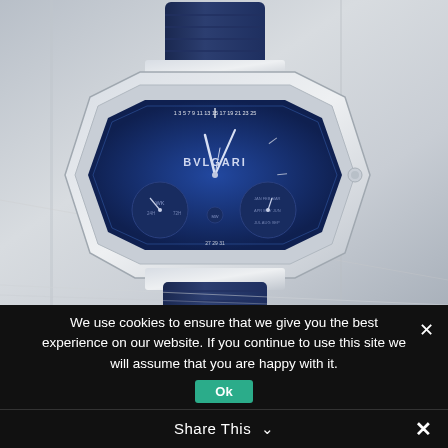[Figure (photo): Bvlgari Octo Finissimo luxury watch with blue dial and blue alligator leather strap, silver octagonal case, displayed against a gray background. The dial shows BVLGARI branding and multiple sub-dials for calendar complications.]
We use cookies to ensure that we give you the best experience on our website. If you continue to use this site we will assume that you are happy with it.
Ok
Share This